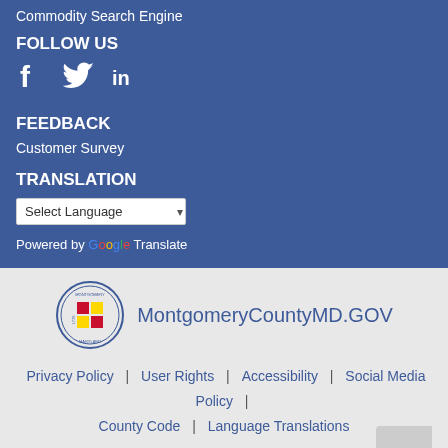Commodity Search Engine
FOLLOW US
[Figure (other): Social media icons: Facebook, Twitter, LinkedIn]
FEEDBACK
Customer Survey
TRANSLATION
Select Language (dropdown)
Powered by Google Translate
[Figure (logo): Montgomery County Maryland seal/logo]
MontgomeryCountyMD.GOV
Privacy Policy | User Rights | Accessibility | Social Media Policy | County Code | Language Translations
© Copyright 2022. Montgomery County Government. | All Rights Reserved